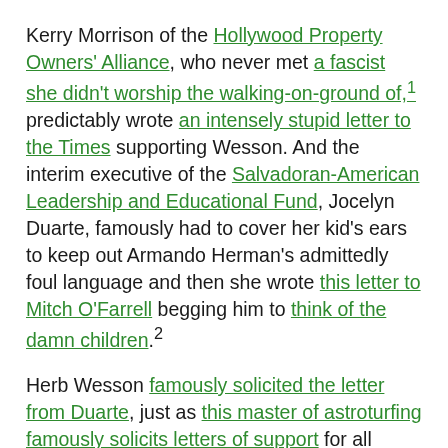Kerry Morrison of the Hollywood Property Owners' Alliance, who never met a fascist she didn't worship the walking-on-ground of,¹ predictably wrote an intensely stupid letter to the Times supporting Wesson. And the interim executive of the Salvadoran-American Leadership and Educational Fund, Jocelyn Duarte, famously had to cover her kid's ears to keep out Armando Herman's admittedly foul language and then she wrote this letter to Mitch O'Farrell begging him to think of the damn children.²
Herb Wesson famously solicited the letter from Duarte, just as this master of astroturfing famously solicits letters of support for all manner of his crackpot ideas.³ But this letter from Jocelyn Duarte is astroturfed in a whole different dimension. Take another look at the actual letter. See the board of directors on the left. Notice Mitch O'Freaking Farrell's legislative director David Giron listed there. Note that Jocelyn Duarte is the interim executive director. And who else but [continues below]